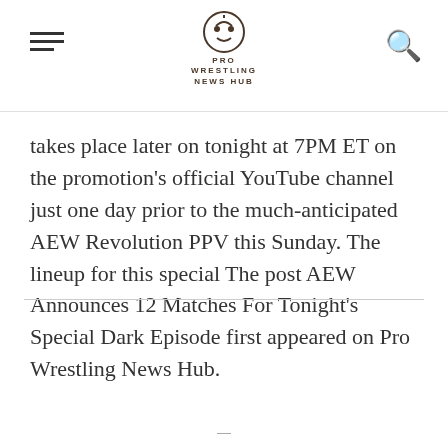PRO WRESTLING NEWS HUB
takes place later on tonight at 7PM ET on the promotion's official YouTube channel just one day prior to the much-anticipated AEW Revolution PPV this Sunday. The lineup for this special The post AEW Announces 12 Matches For Tonight's Special Dark Episode first appeared on Pro Wrestling News Hub.